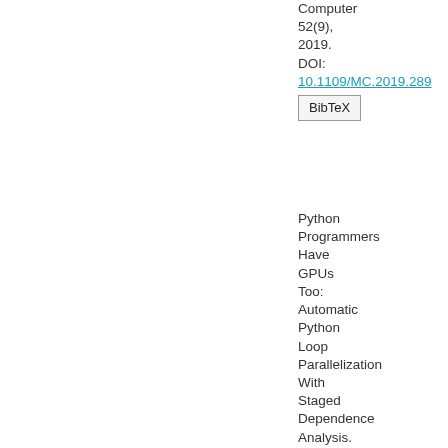Computer 52(9), 2019. DOI: 10.1109/MC.2019.289
BibTeX
Python Programmers Have GPUs Too: Automatic Python Loop Parallelization With Staged Dependence Analysis. Dejice Jacob, Phil Trinder